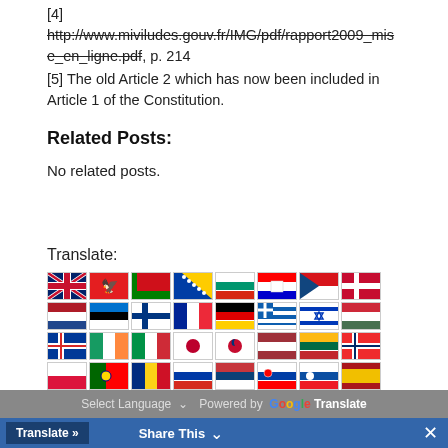[4] http://www.miviludes.gouv.fr/IMG/pdf/rapport2009_mise_en_ligne.pdf, p. 214
[5] The old Article 2 which has now been included in Article 1 of the Constitution.
Related Posts:
No related posts.
Translate:
[Figure (other): Grid of country flag icons for translation options]
Select Language  Powered by Google Translate | Translate » | Share This | ×